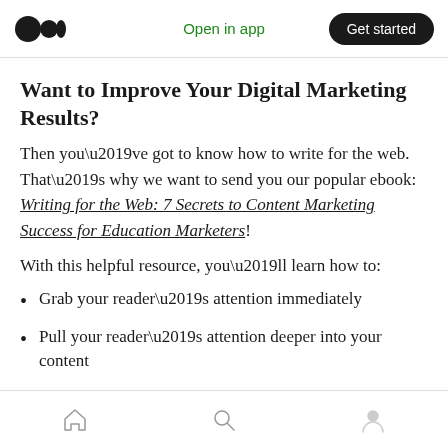Open in app | Get started
Want to Improve Your Digital Marketing Results?
Then you’ve got to know how to write for the web. That’s why we want to send you our popular ebook: Writing for the Web: 7 Secrets to Content Marketing Success for Education Marketers!
With this helpful resource, you’ll learn how to:
Grab your reader’s attention immediately
Pull your reader’s attention deeper into your content
Home | Search | Profile